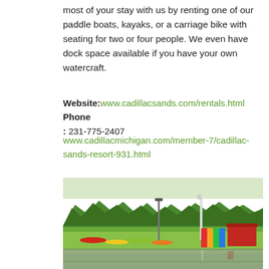most of your stay with us by renting one of our paddle boats, kayaks, or a carriage bike with seating for two or four people. We even have dock space available if you have your own watercraft.
Website: www.cadillacsands.com/rentals.html Phone: 231-775-2407
www.cadillacmichigan.com/member-7/cadillac-sands-resort-931.html
[Figure (photo): Outdoor lakeside resort scene showing colorful kayaks on a green lawn, a red shed, a colorful wall structure, tall pole with light, birch trees, dense green trees in background, and calm water in the foreground.]